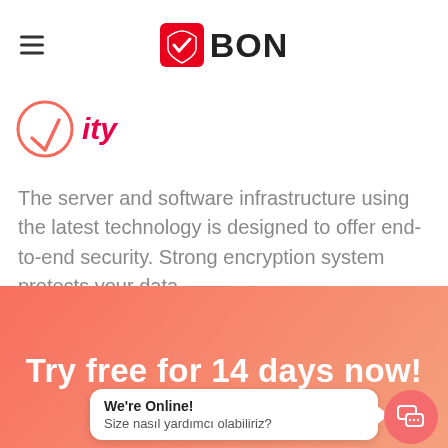BON
[Figure (logo): Partial shield/chevron icon in red with a checkmark, followed by italic red partial heading text]
The server and software infrastructure using the latest technology is designed to offer end-to-end security. Strong encryption system protects your data.
[Figure (screenshot): Salmon/coral gradient background section with white bold text 'Try free for 14 days now!' and a chat widget showing 'We're Online!' and 'Size nasıl yardımcı olabiliriz?']